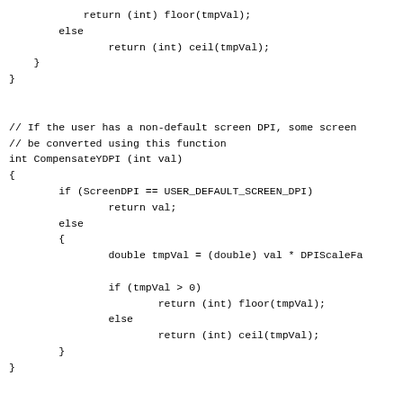return (int) floor(tmpVal);
        else
                return (int) ceil(tmpVal);
    }
}


// If the user has a non-default screen DPI, some screen
// be converted using this function
int CompensateYDPI (int val)
{
        if (ScreenDPI == USER_DEFAULT_SCREEN_DPI)
                return val;
        else
        {
                double tmpVal = (double) val * DPIScaleFa

                if (tmpVal > 0)
                        return (int) floor(tmpVal);
                else
                        return (int) ceil(tmpVal);
        }
}


int GetTextGfxWidth (HWND hwndDlgItem, const wchar_t *tex
{
        SIZE sizes;
        TEXTMETRIC textMetrics;
        HDC hdc = GetDC (hwndDlgItem);